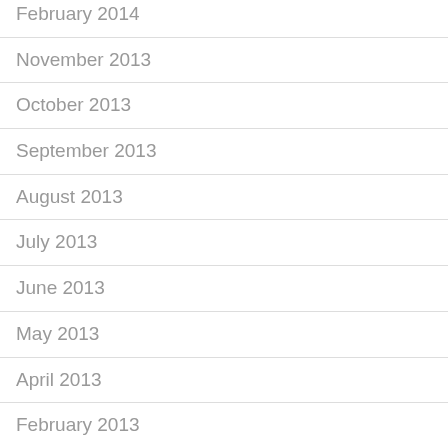February 2014
November 2013
October 2013
September 2013
August 2013
July 2013
June 2013
May 2013
April 2013
February 2013